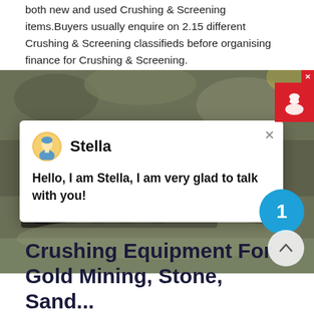both new and used Crushing & Screening items.Buyers usually enquire on 2.15 different Crushing & Screening classifieds before organising finance for Crushing & Screening.
[Figure (screenshot): A photo of a quarry/crushing site with heavy machinery, overlaid by a chat widget featuring an avatar named 'Stella' saying 'Hello, I am Stella, I am very glad to talk with you!', a red customer support button in the top-right corner, a blue notification bubble with '1', and a white scroll-up arrow button.]
Crushing Equipment For Gold Mining, Stone, Sand...